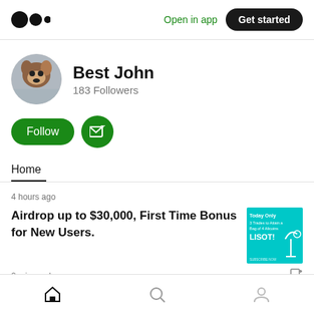Open in app  Get started
Best John
183 Followers
Follow
Home
4 hours ago
Airdrop up to $30,000, First Time Bonus for New Users.
2 min read
[Figure (screenshot): Cyan/teal colored thumbnail image with white icons and text including 'Today Only', 'LISOT!', and crypto-related content]
Home  Search  Profile